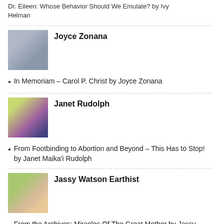Dr. Eileen: Whose Behavior Should We Emulate? by Ivy Helman
Joyce Zonana
In Memoriam – Carol P. Christ by Joyce Zonana
Janet Rudolph
From Footbinding to Abortion and Beyond – This Has to Stop! by Janet Maika'i Rudolph
Jassy Watson Earthist
From the Archives: Miracles Of The Great Mother by Jassy Watson
Judith Shaw
Whale – Lord of the Sea by Judith Shaw – Part 2
Karen Leslie Hernandez